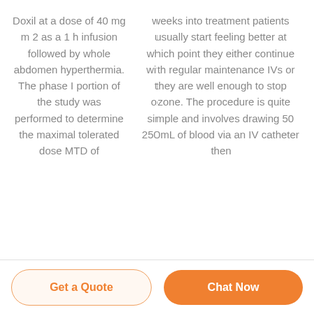Doxil at a dose of 40 mg m 2 as a 1 h infusion followed by whole abdomen hyperthermia. The phase I portion of the study was performed to determine the maximal tolerated dose MTD of
weeks into treatment patients usually start feeling better at which point they either continue with regular maintenance IVs or they are well enough to stop ozone. The procedure is quite simple and involves drawing 50 250mL of blood via an IV catheter then
Get a Quote   Chat Now